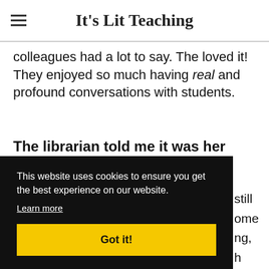It's Lit Teaching
colleagues had a lot to say. The loved it! They enjoyed so much having real and profound conversations with students.
The librarian told me it was her favorite day of the year.
still ome ng, h
This website uses cookies to ensure you get the best experience on our website. Learn more Got it!